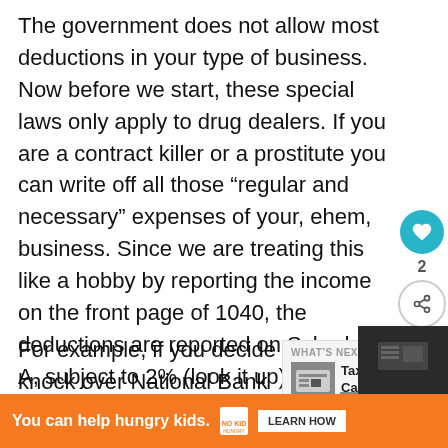The government does not allow most deductions in your type of business. Now before we start, these special laws only apply to drug dealers. If you are a contract killer or a prostitute you can write off all those “regular and necessary” expenses of your, ehem, business. Since we are treating this like a hobby by reporting the income on the front page of 1040, the deductions are reported on Schedule A, subject to 2% (look it up). You can’t show a loss, so be sure to only deduct expenses up to the level of reported income. Also be careful not to miss deductions. For example, if you decide to knock over National Bank against my advice, be sure to keep
[Figure (infographic): Social share sidebar with heart/like button showing teal circle with heart icon, count of 2, and share icon button]
[Figure (infographic): What's Next widget showing a calculator image thumbnail with label 'Tax Calculators']
[Figure (infographic): Orange advertisement banner at bottom: 'You can help hungry kids.' with No Kid Hungry logo and 'LEARN HOW' button]